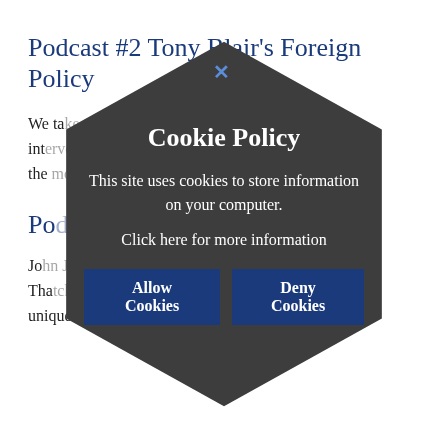Podcast #2 Tony Blair's Foreign Policy
We take you through all of Tony Blair's foreign interventions, analyse his successes and define him the most. In...
Podcast #1 Margaret Thatcher
John Jeff... ...minister Thatcher. How important was she? Why was she unique? ...the era of Thatcherism now over?
[Figure (infographic): Cookie Policy modal dialog in hexagon shape with dark grey background. Title: Cookie Policy. Body text: This site uses cookies to store information on your computer. Link text: Click here for more information. Two buttons: Allow Cookies and Deny Cookies. Close X button in top area.]